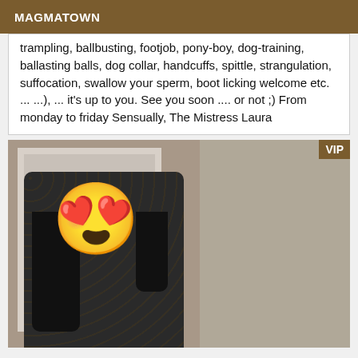MAGMATOWN
trampling, ballbusting, footjob, pony-boy, dog-training, ballasting balls, dog collar, handcuffs, spittle, strangulation, suffocation, swallow your sperm, boot licking welcome etc. ... ...), ... it's up to you. See you soon .... or not ;) From monday to friday Sensually, The Mistress Laura
[Figure (photo): Photo of a person wearing a lace outfit photographed in a mirror, face covered by a heart-eyes emoji sticker. VIP badge in top right corner.]